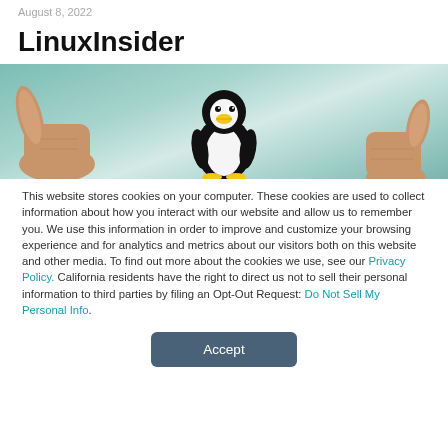August 8, 2022
LinuxInsider
[Figure (photo): Hero image showing two thumbs up hands on a teal/green background with Tux the Linux penguin mascot in the center]
This website stores cookies on your computer. These cookies are used to collect information about how you interact with our website and allow us to remember you. We use this information in order to improve and customize your browsing experience and for analytics and metrics about our visitors both on this website and other media. To find out more about the cookies we use, see our Privacy Policy. California residents have the right to direct us not to sell their personal information to third parties by filing an Opt-Out Request: Do Not Sell My Personal Info.
Accept